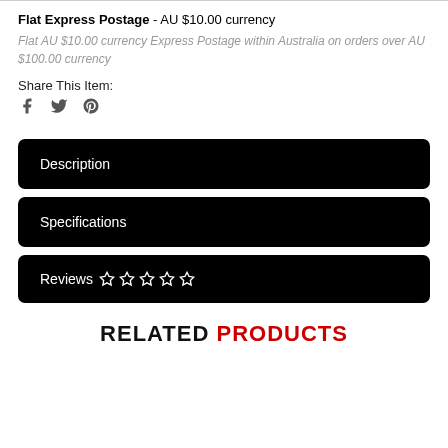Flat Express Postage - AU $10.00 currency
Flat AU $10.00 currency Express Postage within Australia on orders over AU $100.00 currency
Share This Item:
[Figure (other): Social media share icons: Facebook, Twitter, Pinterest]
Description
Specifications
Reviews ☆ ☆ ☆ ☆ ☆
RELATED PRODUCTS